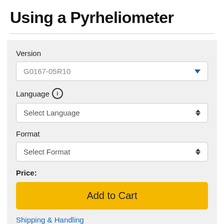Using a Pyrheliometer
Version
G0167-05R10
Language
Select Language
Format
Select Format
Price:
Add to Cart
Shipping & Handling